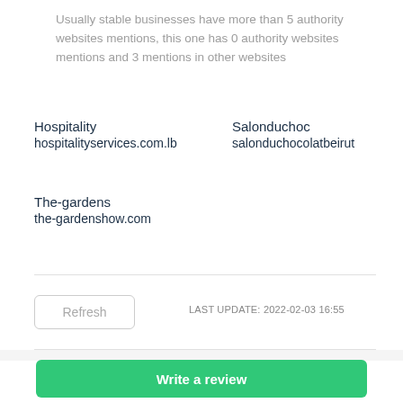Usually stable businesses have more than 5 authority websites mentions, this one has 0 authority websites mentions and 3 mentions in other websites
Hospitality
hospitalityservices.com.lb
Salonduchoc
salonduchocolatbeirut
The-gardens
the-gardenshow.com
Refresh
LAST UPDATE: 2022-02-03 16:55
Write a review